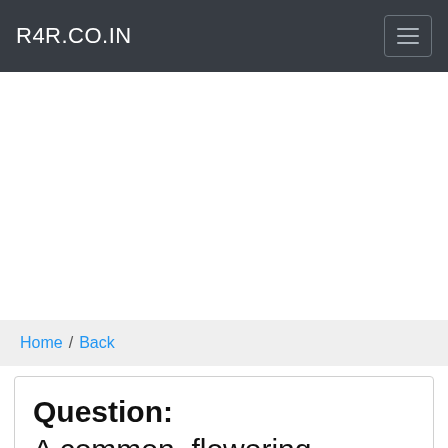R4R.CO.IN
Home / Back
Question:
A common, flowering